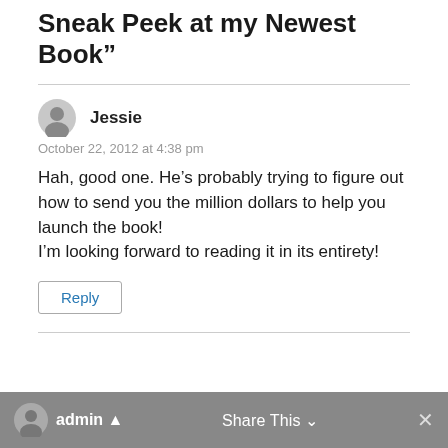Sneak Peek at my Newest Book”
Jessie
October 22, 2012 at 4:38 pm
Hah, good one. He’s probably trying to figure out how to send you the million dollars to help you launch the book!
I’m looking forward to reading it in its entirety!
Reply
admin ▴  Share This ∨  ×